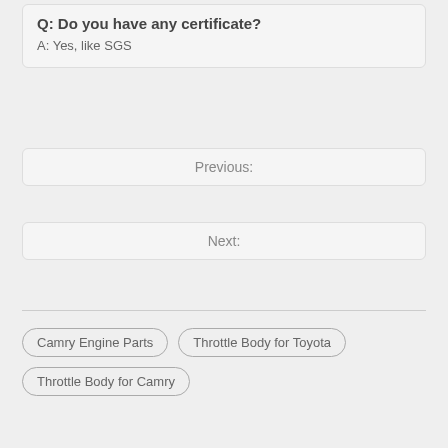Q: Do you have any certificate?
A: Yes, like SGS
Previous:
Next:
Camry Engine Parts
Throttle Body for Toyota
Throttle Body for Camry